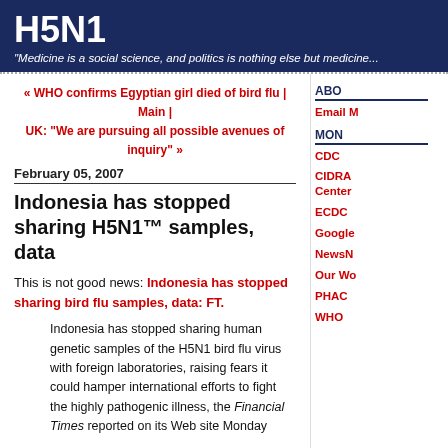H5N1
"Medicine is a social science, and politics is nothing else but medicine..."
« WHO confirms Egyptian girl died of bird flu | Main | UK: "We are pursuing all possible avenues of inquiry" »
February 05, 2007
Indonesia has stopped sharing H5N1™ samples, data
This is not good news: Indonesia has stopped sharing bird flu samples, data: FT.
Indonesia has stopped sharing human genetic samples of the H5N1 bird flu virus with foreign laboratories, raising fears it could hamper international efforts to fight the highly pathogenic illness, the Financial Times reported on its Web site Monday
According to officials, Indonesia stopped providing samples internationally last month, hindering
ABOUT
Email M
MONIT
CDC
CIDRA Center
ECDC
Google
NewsN
Our Wo
PHAC
WHO